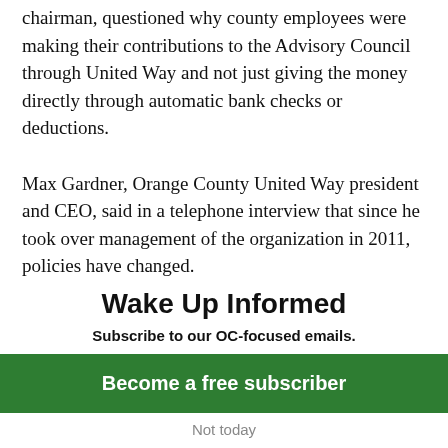chairman, questioned why county employees were making their contributions to the Advisory Council through United Way and not just giving the money directly through automatic bank checks or deductions.
Max Gardner, Orange County United Way president and CEO, said in a telephone interview that since he took over management of the organization in 2011, policies have changed.
Wake Up Informed
Subscribe to our OC-focused emails.
Become a free subscriber
Not today